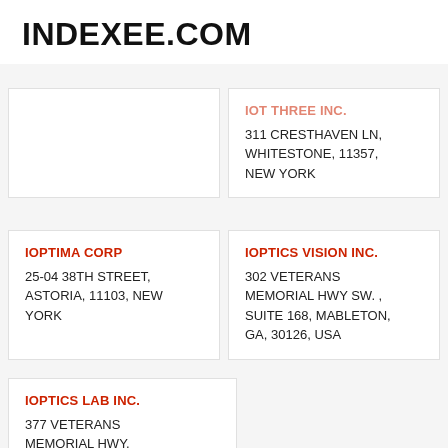INDEXEE.COM
IOT THREE INC.
311 CRESTHAVEN LN, WHITESTONE, 11357, NEW YORK
IOPTIMA CORP
25-04 38TH STREET, ASTORIA, 11103, NEW YORK
IOPTICS VISION INC.
302 VETERANS MEMORIAL HWY SW. , SUITE 168, MABLETON, GA, 30126, USA
IOPTICS LAB INC.
377 VETERANS MEMORIAL HWY, MABLETON, GA, 30126, USA